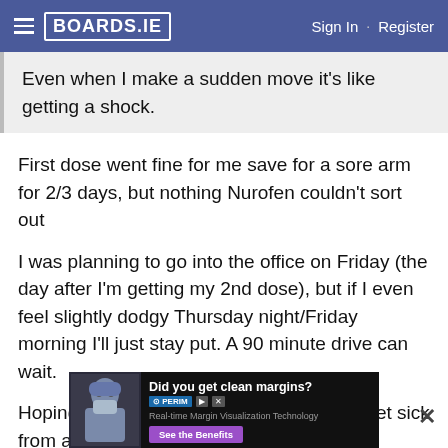BOARDS.IE   Sign In · Register
Even when I make a sudden move it's like getting a shock.
First dose went fine for me save for a sore arm for 2/3 days, but nothing Nurofen couldn't sort out
I was planning to go into the office on Friday (the day after I'm getting my 2nd dose), but if I even feel slightly dodgy Thursday night/Friday morning I'll just stay put. A 90 minute drive can wait.
Hoping I'll be OK though. It's pretty rare I get sick from anything thankfully.
[Figure (screenshot): Advertisement banner: Did you get clean margins? PERIMETER. Real-time Margin Visualization Technology. See the Benefits button.]